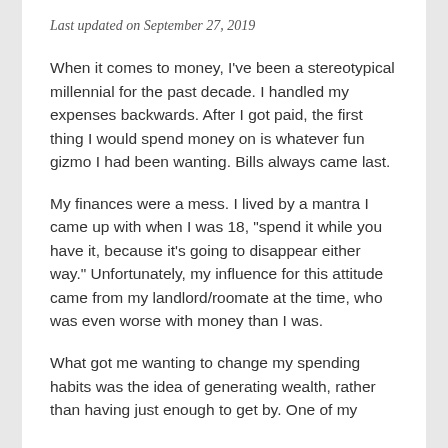Last updated on September 27, 2019
When it comes to money, I've been a stereotypical millennial for the past decade. I handled my expenses backwards. After I got paid, the first thing I would spend money on is whatever fun gizmo I had been wanting. Bills always came last.
My finances were a mess. I lived by a mantra I came up with when I was 18, "spend it while you have it, because it's going to disappear either way." Unfortunately, my influence for this attitude came from my landlord/roomate at the time, who was even worse with money than I was.
What got me wanting to change my spending habits was the idea of generating wealth, rather than having just enough to get by. One of my